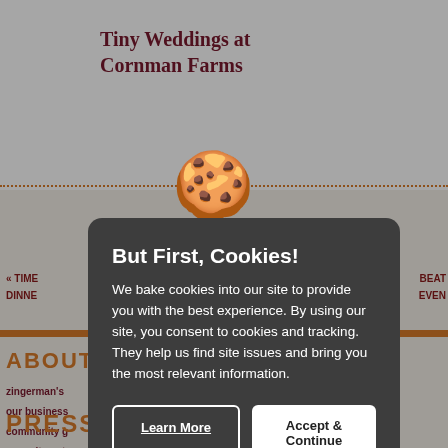Tiny Weddings at Cornman Farms
« TIME... DINNE...   BEAT... EVEN...
ABOUT
zingerman's
our business
community g
commitment
jobs
PRESSROOM
[Figure (other): Cookie consent modal dialog with dark background. Title: 'But First, Cookies!' Body text: 'We bake cookies into our site to provide you with the best experience. By using our site, you consent to cookies and tracking. They help us find site issues and bring you the most relevant information.' Two buttons: 'Learn More' and 'Accept & Continue'. A cookie emoji icon appears above the modal.]